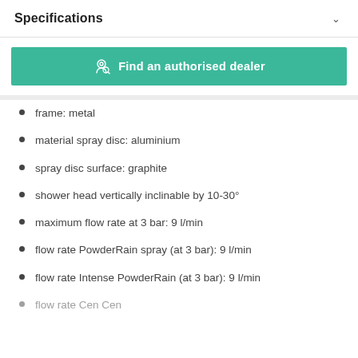Specifications
[Figure (other): Find an authorised dealer button with location/person icon]
frame: metal
material spray disc: aluminium
spray disc surface: graphite
shower head vertically inclinable by 10-30°
maximum flow rate at 3 bar: 9 l/min
flow rate PowderRain spray (at 3 bar): 9 l/min
flow rate Intense PowderRain (at 3 bar): 9 l/min
flow rate Cen Cen...